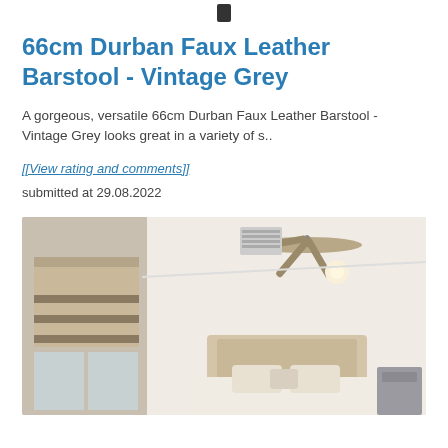66cm Durban Faux Leather Barstool - Vintage Grey
A gorgeous, versatile 66cm Durban Faux Leather Barstool - Vintage Grey looks great in a variety of s..
[[View rating and comments]]
submitted at 29.08.2022
[Figure (photo): Interior bedroom photo showing a ceiling fan, roman blinds on a window, white walls, and a beige upholstered bed with white bedding and pillows.]